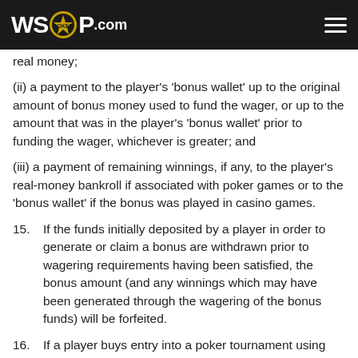WSOP.COM
real money;
(ii) a payment to the player's 'bonus wallet' up to the original amount of bonus money used to fund the wager, or up to the amount that was in the player's 'bonus wallet' prior to funding the wager, whichever is greater; and
(iii) a payment of remaining winnings, if any, to the player's real-money bankroll if associated with poker games or to the 'bonus wallet' if the bonus was played in casino games.
15. If the funds initially deposited by a player in order to generate or claim a bonus are withdrawn prior to wagering requirements having been satisfied, the bonus amount (and any winnings which may have been generated through the wagering of the bonus funds) will be forfeited.
16. If a player buys entry into a poker tournament using bonus funds, and such funds expire before the tournament is played, the player will not be unregistered